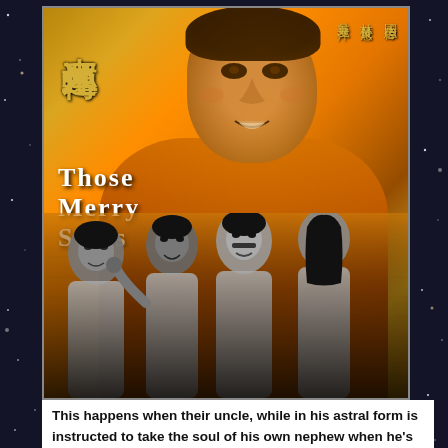[Figure (photo): Movie poster for 'Those Merry Souls' (Chinese title: 來運轉). Features a young Asian man in an orange sweater in the upper portion, with a group of grayscale figures in the lower portion. Chinese cast names listed vertically on the right side. Golden/orange warm tones throughout.]
This happens when their uncle, while in his astral form is instructed to take the soul of his own nephew when he's injured doing a wild stunt on a movie set. At the moment of truth though he decides to let him live & spare his soul a mistake that costs him his own life and sets forth an evil entity upon them. In a way